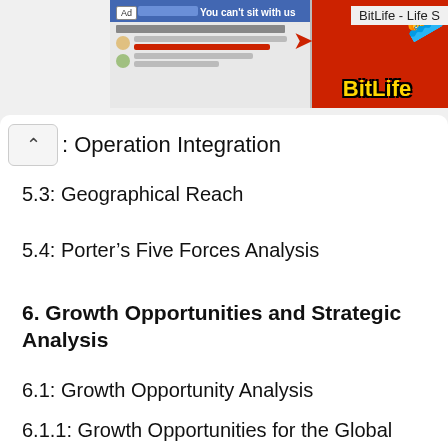[Figure (screenshot): BitLife advertisement banner showing a Facebook-style interface with a red background and BitLife branding. Text visible: 'Ad', 'You can't sit with us', 'BitLife - Life S']
: Operation Integration
5.3: Geographical Reach
5.4: Porter's Five Forces Analysis
6. Growth Opportunities and Strategic Analysis
6.1: Growth Opportunity Analysis
6.1.1: Growth Opportunities for the Global PCB Connector Market by Product Type